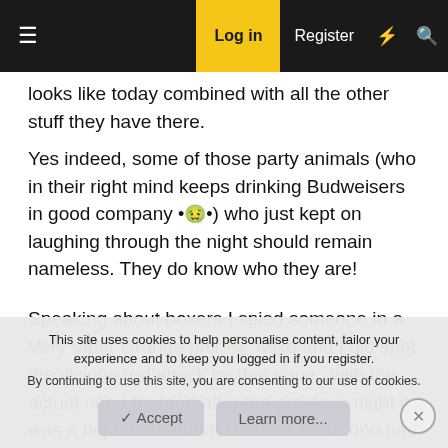Log in | Register
looks like today combined with all the other stuff they have there.
Yes indeed, some of those party animals (who in their right mind keeps drinking Budweisers in good company 🤢) who just kept on laughing through the night should remain nameless. They do know who they are!
Speaking about boxers I spied someone in a Very Viper Orange pair 😉 Mike and I did spot the vicious red attack by that cone.. with the actual need for food after the previous night it was a big bummer that Dominik and Kuno had already blasted their tires to shreds after doing the ride along experience (the water in the bucket feeling was a
This site uses cookies to help personalise content, tailor your experience and to keep you logged in if you register.
By continuing to use this site, you are consenting to our use of cookies.